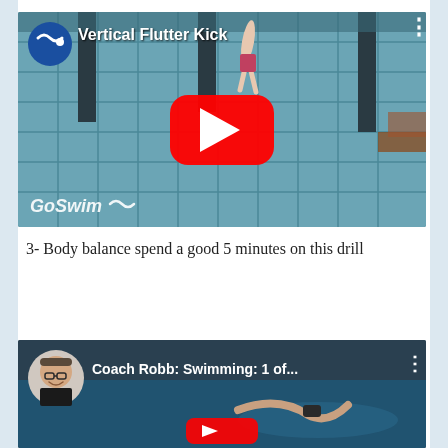[Figure (screenshot): YouTube video thumbnail for 'Vertical Flutter Kick' by GoSwim, showing underwater pool tile view with swimmer, YouTube play button, GoSwim logo and channel avatar]
3- Body balance spend a good 5 minutes on this drill
[Figure (screenshot): YouTube video thumbnail for 'Coach Robb: Swimming: 1 of...' showing Coach Robb avatar and swimmer in pool]